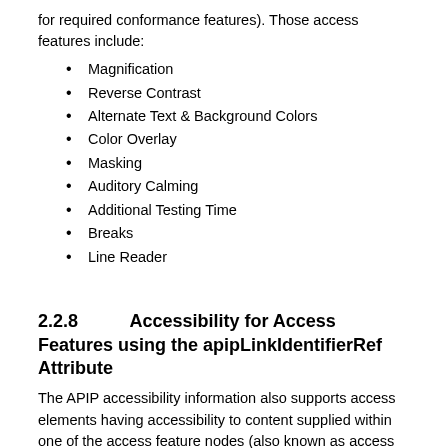for required conformance features). Those access features include:
Magnification
Reverse Contrast
Alternate Text & Background Colors
Color Overlay
Masking
Auditory Calming
Additional Testing Time
Breaks
Line Reader
2.2.8        Accessibility for Access Features using the apipLinkIdentifierRef Attribute
The APIP accessibility information also supports access elements having accessibility to content supplied within one of the access feature nodes (also known as access for access features). As an example, an access element might include a